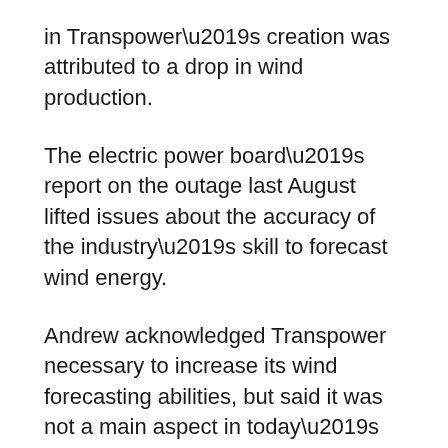in Transpower’s creation was attributed to a drop in wind production.
The electric power board’s report on the outage last August lifted issues about the accuracy of the industry’s skill to forecast wind energy.
Andrew acknowledged Transpower necessary to increase its wind forecasting abilities, but said it was not a main aspect in today’s party.
“This led to the forecast fall from 90 MW to 30 MW, which is a 60 MW fall, and typically the program can simply endure that alter, it is a combination of three functions that are leading to the problem,” she said.